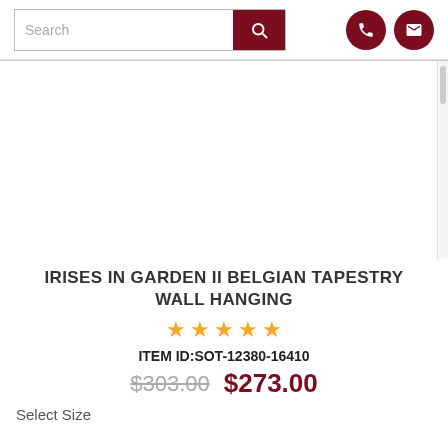Search
[Figure (photo): Product image area (blank white space where product photo would appear) with scrollbar on right side]
IRISES IN GARDEN II BELGIAN TAPESTRY WALL HANGING
★★★★★
ITEM ID:SOT-12380-16410
$303.00 $273.00
Select Size